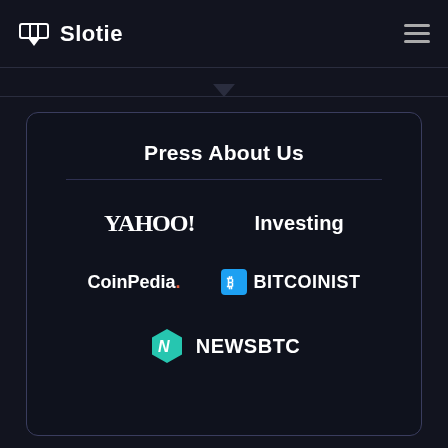Slotie
Press About Us
[Figure (logo): YAHOO! logo in white serif font]
[Figure (logo): Investing logo in white sans-serif font]
[Figure (logo): CoinPedia. logo with red dot]
[Figure (logo): Bitcoinist logo with blue Bitcoin B icon]
[Figure (logo): NewsBTC logo with teal hexagon N icon]